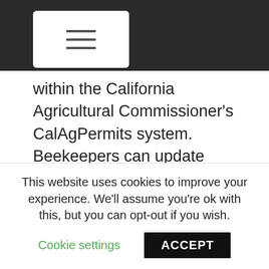[Figure (screenshot): Dark top navigation bar with a white hamburger menu button showing three horizontal lines]
within the California Agricultural Commissioner's CalAgPermits system. Beekeepers can update hive locations if hives are moved, as well as number of hives in a colony. This lets applicators and PCAs know that there are bees in the area, and that they need to submit a bee clearance to the county. Only pesticide applicators are able to see the contact information for beekeepers.
Each individual county can only see the hives that are pinned in that specific county. Beekeepers cannot see the locations of other beekeepers' hive locations. Pest control advisors (PCA) and others with access to the
This website uses cookies to improve your experience. We'll assume you're ok with this, but you can opt-out if you wish.
Cookie settings    ACCEPT